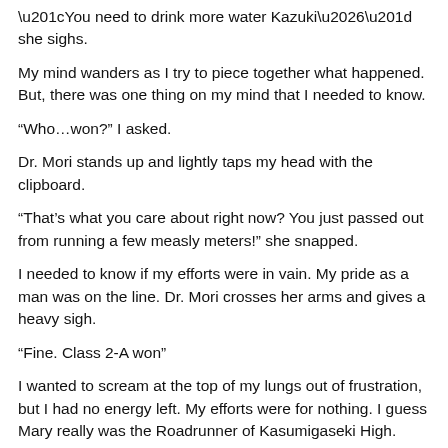“You need to drink more water Kazuki…” she sighs.
My mind wanders as I try to piece together what happened. But, there was one thing on my mind that I needed to know.
“Who…won?” I asked.
Dr. Mori stands up and lightly taps my head with the clipboard.
“That’s what you care about right now? You just passed out from running a few measly meters!” she snapped.
I needed to know if my efforts were in vain. My pride as a man was on the line. Dr. Mori crosses her arms and gives a heavy sigh.
“Fine. Class 2-A won”
I wanted to scream at the top of my lungs out of frustration, but I had no energy left. My efforts were for nothing. I guess Mary really was the Roadrunner of Kasumigaseki High. Although I matched Daisuke, it was like stone that battle but between them...